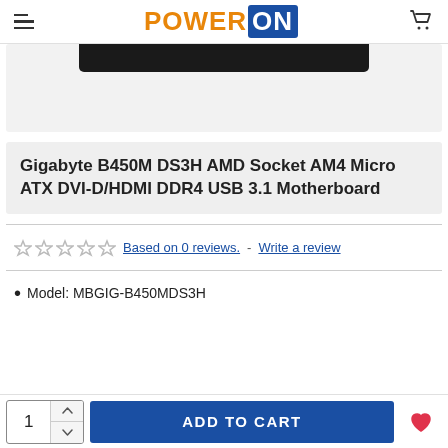POWER ON
[Figure (photo): Partial product image of Gigabyte B450M DS3H motherboard, showing the top edge of the board against a light gray background]
Gigabyte B450M DS3H AMD Socket AM4 Micro ATX DVI-D/HDMI DDR4 USB 3.1 Motherboard
Based on 0 reviews. – Write a review
Model: MBGIG-B450MDS3H
1  ADD TO CART